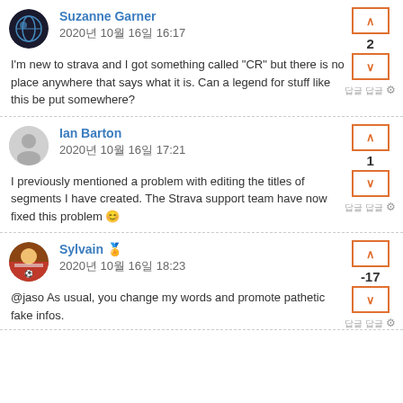Suzanne Garner
2020년 10월 16일 16:17
I'm new to strava and I got something called "CR" but there is no place anywhere that says what it is.  Can a legend for stuff like this be put somewhere?
Ian Barton
2020년 10월 16일 17:21
I previously mentioned a problem with editing the titles of segments I have created.  The Strava support team have now fixed this problem 😊
Sylvain 🏅
2020년 10월 16일 18:23
@jaso As usual, you change my words and promote pathetic fake infos.